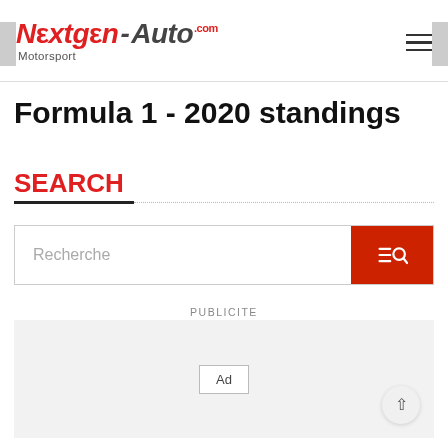NEXTGEN-AUTO.com Motorsport
Formula 1 - 2020 standings
SEARCH
[Figure (screenshot): Search input bar with placeholder text 'Recherche' and a red search button with icon on the right]
PUBLICITE
[Figure (other): Advertisement placeholder box with 'Ad' label on grey background]